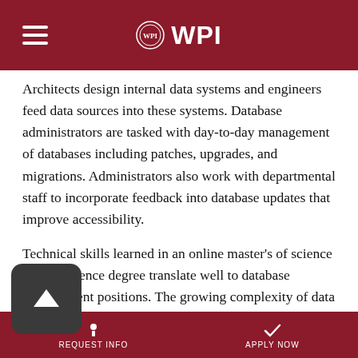WPI
Architects design internal data systems and engineers feed data sources into these systems. Database administrators are tasked with day-to-day management of databases including patches, upgrades, and migrations. Administrators also work with departmental staff to incorporate feedback into database updates that improve accessibility.
Technical skills learned in an online master's of science in data science degree translate well to database management positions. The growing complexity of data science and challenges of managing databases make specialized skills essential for this career. PayScale estimates the following salary boosts for these in-demand talents:
NoSQL (54%)
REQUEST INFO   APPLY NOW